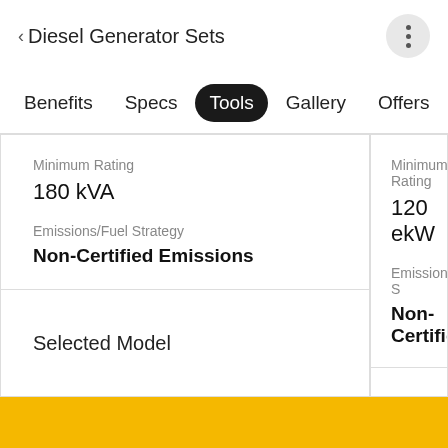< Diesel Generator Sets
Benefits  Specs  Tools  Gallery  Offers
Minimum Rating
180 kVA
Emissions/Fuel Strategy
Non-Certified Emissions
Minimum Rating
120 ekW
Emissions/Fuel Strategy
Non-Certified
Selected Model
MODEL DETAILS